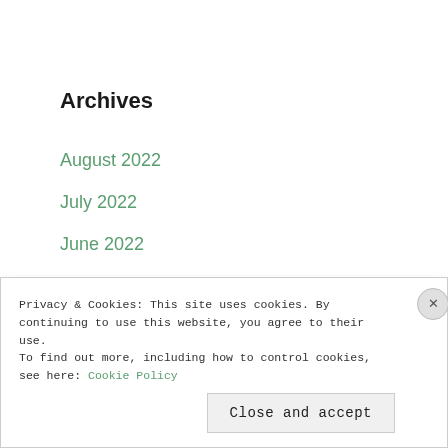Archives
August 2022
July 2022
June 2022
May 2022
April 2022
March 2022
February 2022
January 2022
December 2021
Privacy & Cookies: This site uses cookies. By continuing to use this website, you agree to their use.
To find out more, including how to control cookies, see here: Cookie Policy
Close and accept